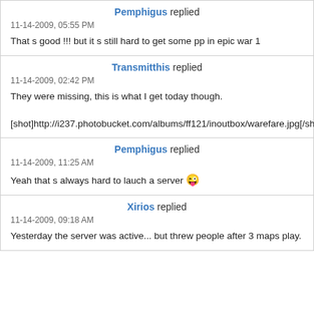Pemphigus replied
11-14-2009, 05:55 PM
That s good !!! but it s still hard to get some pp in epic war 1
Transmitthis replied
11-14-2009, 02:42 PM
They were missing, this is what I get today though.

[shot]http://i237.photobucket.com/albums/ff121/inoutbox/warefare.jpg[/shot]
Pemphigus replied
11-14-2009, 11:25 AM
Yeah that s always hard to lauch a server 😜
Xirios replied
11-14-2009, 09:18 AM
Yesterday the server was active... but threw people after 3 maps play.